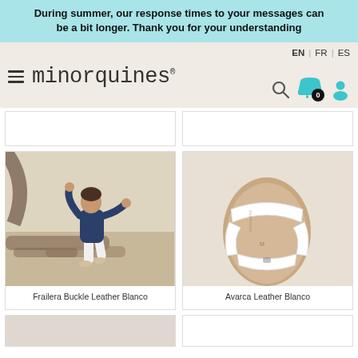During summer, our response times to your messages can be a bit longer. Thank you for your understanding
minorquines® — EN | FR | ES
[Figure (photo): Child jumping on a beach near driftwood logs, wearing a dark navy top and white pants]
Frailera Buckle Leather Blanco
[Figure (photo): White leather Avarca sandal viewed from above on a light background]
Avarca Leather Blanco